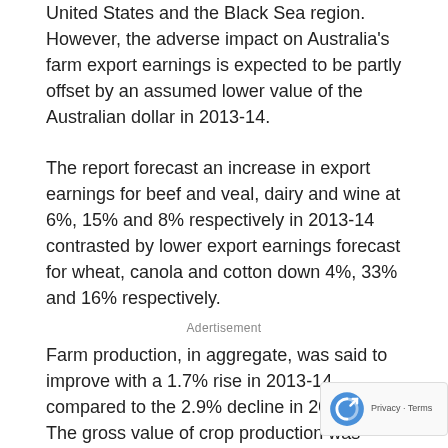United States and the Black Sea region. However, the adverse impact on Australia's farm export earnings is expected to be partly offset by an assumed lower value of the Australian dollar in 2013-14.
The report forecast an increase in export earnings for beef and veal, dairy and wine at 6%, 15% and 8% respectively in 2013-14 contrasted by lower export earnings forecast for wheat, canola and cotton down 4%, 33% and 16% respectively.
Adertisement
Farm production, in aggregate, was said to improve with a 1.7% rise in 2013-14 compared to the 2.9% decline in 2012-13.
The gross value of crop production was forecast to remain largely unchanged in 2013-14 while the gross value of